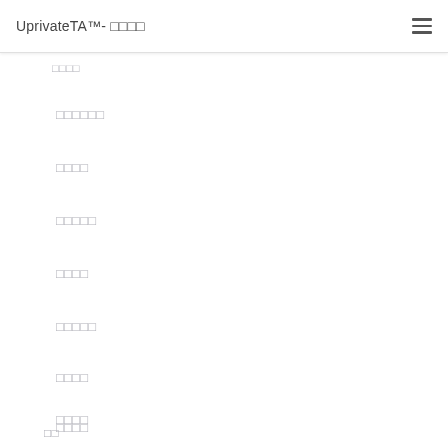UprivateTA™- □□□□
□□□□
□□□□□□
□□□□
□□□□□
□□□□
□□□□□
□□□□
□□□□
□□□□
□□